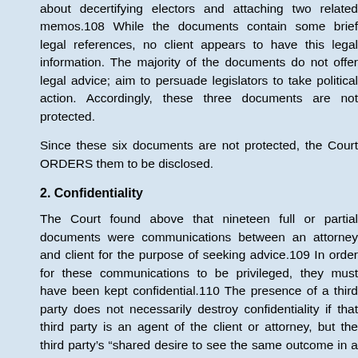about decertifying electors and attaching two related memos.108 While the documents contain some brief legal references, no client appears to have this legal information. The majority of the documents do not offer legal advice; aim to persuade legislators to take political action. Accordingly, these three documents are not protected.
Since these six documents are not protected, the Court ORDERS them to be disclosed.
2. Confidentiality
The Court found above that nineteen full or partial documents were communications between an attorney and client for the purpose of seeking advice.109 In order for these communications to be privileged, they must have been kept confidential.110 The presence of a third party does not necessarily destroy confidentiality if that third party is an agent of the client or attorney, but the third party's “shared desire to see the same outcome in a legal matter” is insufficient” to maintain confidentiality.112
Nine of the nineteen documents are solely between the client, the client’s and confirmed counsel.113 Accordingly, these nine documents are protected.
Four of the nineteen documents are between Dr. Eastman and a third party in communication with an Arizona state senator.114 Dr. Eastman submits a declaration that this third party is an agent of the state senator, and the c